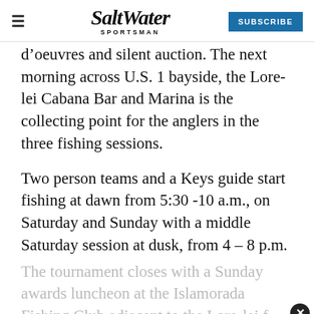Salt Water Sportsman — SUBSCRIBE
d’oeuvres and silent auction. The next morning across U.S. 1 bayside, the Lore-lei Cabana Bar and Marina is the collecting point for the anglers in the three fishing sessions.
Two person teams and a Keys guide start fishing at dawn from 5:30 -10 a.m., on Saturday and Sunday with a middle Saturday session at dusk, from 4 – 8 p.m.
The tournament closes with a Sunday awards luncheon at the Islamorada Fishing Club adjacent to the Lore-lei f